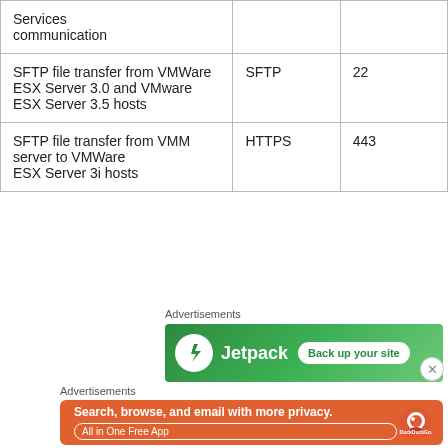| Services communication |  |  |
| SFTP file transfer from VMWare ESX Server 3.0 and VMware ESX Server 3.5 hosts | SFTP | 22 |
| SFTP file transfer from VMM server to VMWare ESX Server 3i hosts | HTTPS | 443 |
Advertisements
[Figure (illustration): Jetpack advertisement banner: green background with Jetpack logo (lightning bolt in circle), text 'Jetpack', button 'Back up your site']
Advertisements
[Figure (illustration): DuckDuckGo advertisement: orange/red background with text 'Search, browse, and email with more privacy. All in One Free App', DuckDuckGo logo on right side with phone mockup]